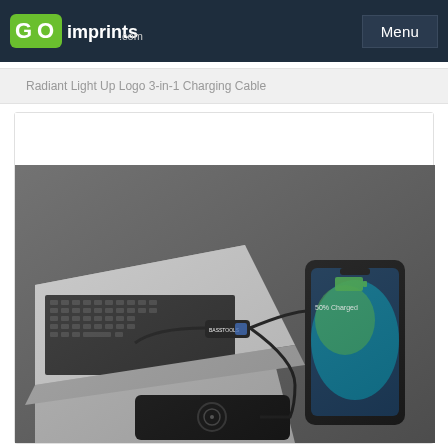GOimprints.com | Menu
Radiant Light Up Logo 3-in-1 Charging Cable
[Figure (photo): Product photo of a Radiant Light Up Logo 3-in-1 Charging Cable connected to a laptop and smartphone, with a wireless charging pad below, all on a dark gray surface.]